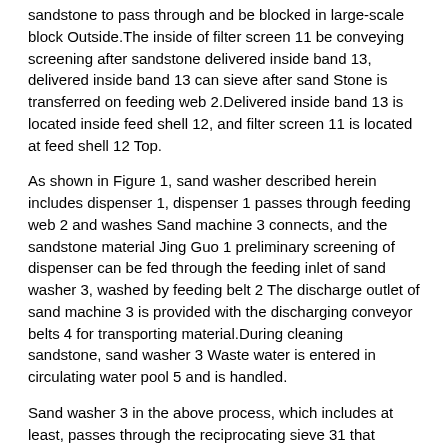sandstone to pass through and be blocked in large-scale block Outside.The inside of filter screen 11 be conveying screening after sandstone delivered inside band 13, delivered inside band 13 can sieve after sand Stone is transferred on feeding web 2.Delivered inside band 13 is located inside feed shell 12, and filter screen 11 is located at feed shell 12 Top.
As shown in Figure 1, sand washer described herein includes dispenser 1, dispenser 1 passes through feeding web 2 and washes Sand machine 3 connects, and the sandstone material Jing Guo 1 preliminary screening of dispenser can be fed through the feeding inlet of sand washer 3, washed by feeding belt 2 The discharge outlet of sand machine 3 is provided with the discharging conveyor belts 4 for transporting material.During cleaning sandstone, sand washer 3 Waste water is entered in circulating water pool 5 and is handled.
Sand washer 3 in the above process, which includes at least, passes through the reciprocating sieve 31 that vibration generator 34 drives, and reciprocating sieve 31 Below the outlet of feeding web 2, the top of reciprocating sieve 31 is additionally provided with high pressure clear